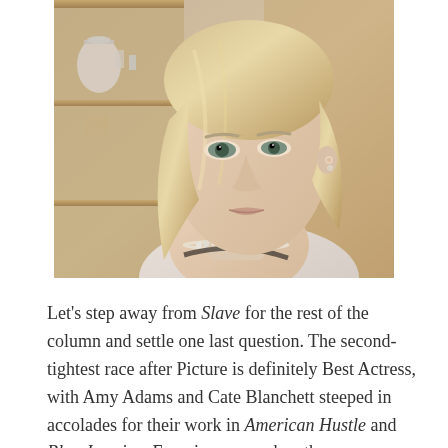[Figure (photo): Close-up photo of a blonde woman (Cate Blanchett) with a worried or anxious expression, wearing a pearl necklace and light-colored top, with kitchen shelving visible in the background.]
Let's step away from Slave for the rest of the column and settle one last question. The second-tightest race after Picture is definitely Best Actress, with Amy Adams and Cate Blanchett steeped in accolades for their work in American Hustle and Blue Jasmine. Even in a year when there was a shamefully fallow field of great female roles—except in Disney movies and Megan Ellison productions because dammit Megan